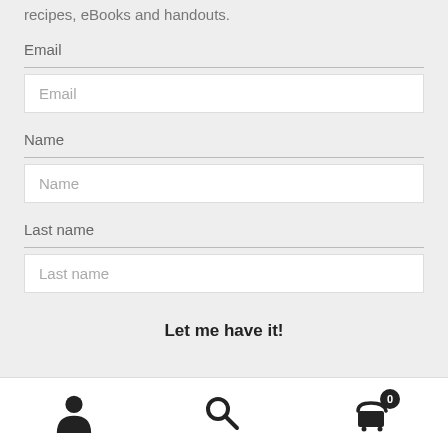recipes, eBooks and handouts.
Email
Email
Name
Name
Last name
Last name
Let me have it!
[Figure (infographic): Bottom navigation bar with user icon, search icon, and shopping cart icon with badge showing 0]